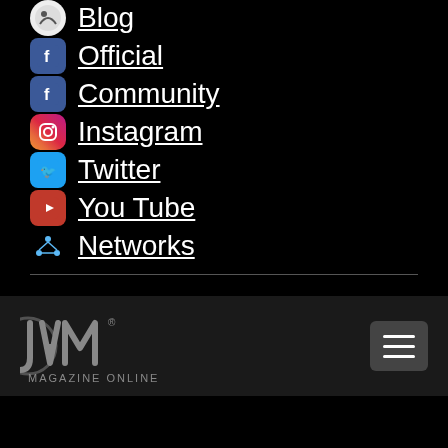Blog
Official
Community
Instagram
Twitter
You Tube
Networks
Copyright ©2022 JAM Magazine, JAM Magazine Online, JAM Mag, JAM Mag Online
[Figure (logo): JAM Magazine Online logo with stylized text and hamburger menu button]